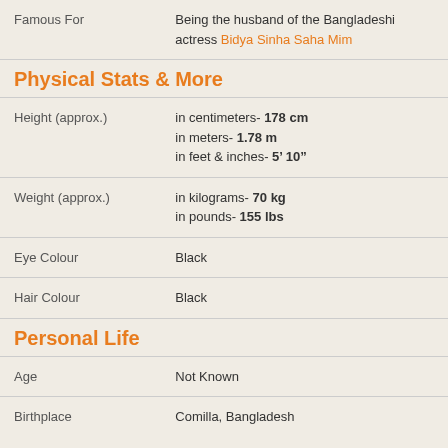| Famous For | Being the husband of the Bangladeshi actress Bidya Sinha Saha Mim |
Physical Stats & More
| Height (approx.) | in centimeters- 178 cm
in meters- 1.78 m
in feet & inches- 5’ 10” |
| Weight (approx.) | in kilograms- 70 kg
in pounds- 155 lbs |
| Eye Colour | Black |
| Hair Colour | Black |
Personal Life
| Age | Not Known |
| Birthplace | Comilla, Bangladesh |